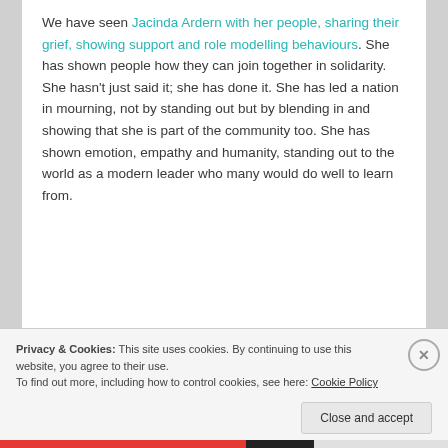We have seen Jacinda Ardern with her people, sharing their grief, showing support and role modelling behaviours. She has shown people how they can join together in solidarity. She hasn't just said it; she has done it. She has led a nation in mourning, not by standing out but by blending in and showing that she is part of the community too. She has shown emotion, empathy and humanity, standing out to the world as a modern leader who many would do well to learn from.
Privacy & Cookies: This site uses cookies. By continuing to use this website, you agree to their use. To find out more, including how to control cookies, see here: Cookie Policy